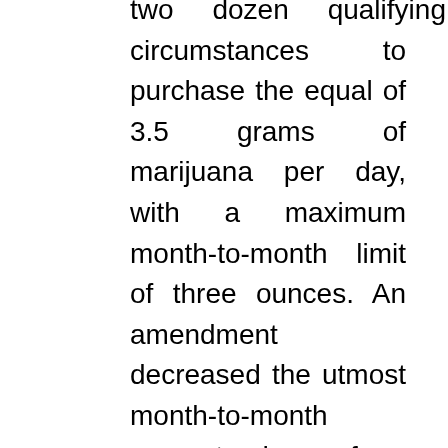two dozen qualifying medical circumstances to purchase the equal of 3.5 grams of marijuana per day, with a maximum month-to-month limit of three ounces. An amendment decreased the utmost month-to-month amount down from the 3.5-ounce restrict handed by the Senate. Plus our award successful Members' Magazine delivered 4 times a yr.
Stacy Warner , House's ex-girlfriend, seems within the final two episodes of the primary season, and 7 episodes of season two. She desires House to deal with her